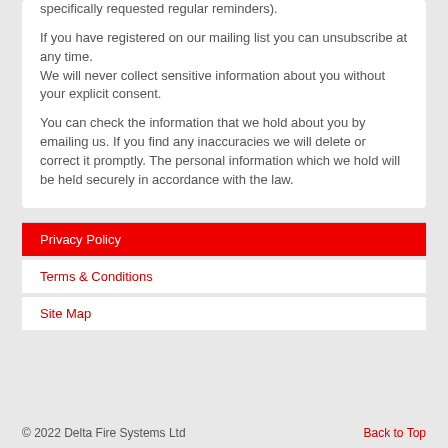specifically requested regular reminders).

If you have registered on our mailing list you can unsubscribe at any time.
We will never collect sensitive information about you without your explicit consent.

You can check the information that we hold about you by emailing us. If you find any inaccuracies we will delete or correct it promptly. The personal information which we hold will be held securely in accordance with the law.
Privacy Policy
Terms & Conditions
Site Map
© 2022 Delta Fire Systems Ltd    Back to Top